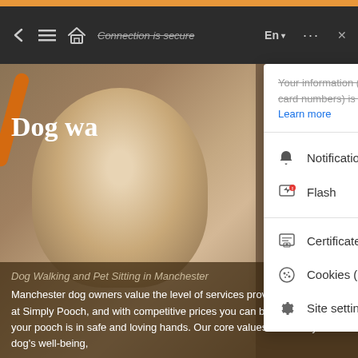[Figure (screenshot): Browser toolbar with back, menu, home icons, 'Connection is secure' address bar text, language selector 'En' with dropdown arrow, three-dot menu, and close button. Dark background #2C2C2C.]
Your information (for example, passwords or credit card numbers) is private when it is sent to this site. Learn more
Notifications — Allow (dropdown)
Flash — Block (default) (dropdown)
Certificate (Valid)
Cookies (27 in use)
Site settings
[Figure (screenshot): Website background showing a dog (white/cream dog on orange leash) with dark overlay at bottom. Title 'Dog wa...' in white bold serif font. Bottom section shows subtitle 'Dog Walking and Pet Sitting in Manchester' and body text about Manchester dog owners.]
Dog Walking and Pet Sitting in Manchester
Manchester dog owners value the level of services provided by the team at Simply Pooch, and with competitive prices you can be assured that your pooch is in safe and loving hands. Our core values focus on your dog's well-being,